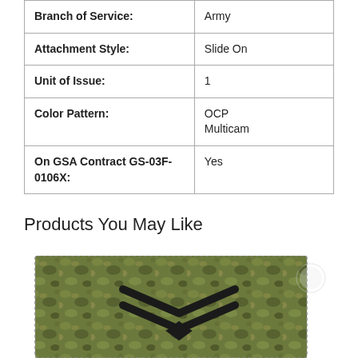| Branch of Service: | Army |
| Attachment Style: | Slide On |
| Unit of Issue: | 1 |
| Color Pattern: | OCP
Multicam |
| On GSA Contract GS-03F-0106X: | Yes |
Products You May Like
[Figure (photo): Military rank patch on OCP Multicam camouflage fabric showing sergeant chevrons embroidered in dark thread]